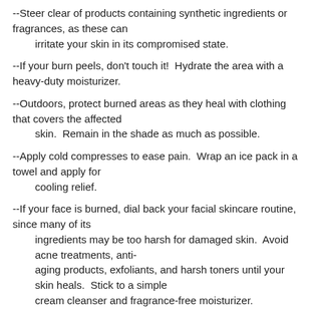--Steer clear of products containing synthetic ingredients or fragrances, as these can irritate your skin in its compromised state.
--If your burn peels, don't touch it!  Hydrate the area with a heavy-duty moisturizer.
--Outdoors, protect burned areas as they heal with clothing that covers the affected skin.  Remain in the shade as much as possible.
--Apply cold compresses to ease pain.  Wrap an ice pack in a towel and apply for cooling relief.
--If your face is burned, dial back your facial skincare routine, since many of its ingredients may be too harsh for damaged skin.  Avoid acne treatments, anti-aging products, exfoliants, and harsh toners until your skin heals.  Stick to a simple cream cleanser and fragrance-free moisturizer.
--If your burn results in serious symptoms like blistering or fever, seek medical attention.